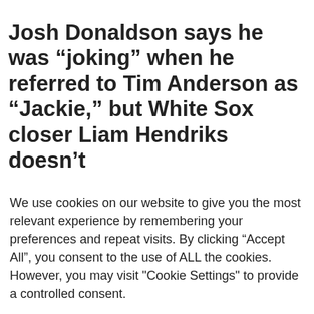Josh Donaldson says he was “joking” when he referred to Tim Anderson as “Jackie,” but White Sox closer Liam Hendriks doesn’t
We use cookies on our website to give you the most relevant experience by remembering your preferences and repeat visits. By clicking “Accept All”, you consent to the use of ALL the cookies. However, you may visit "Cookie Settings" to provide a controlled consent.